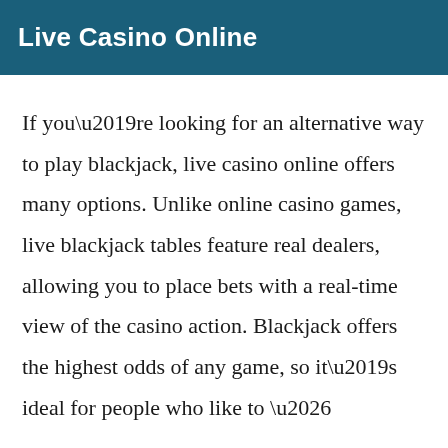Live Casino Online
If you’re looking for an alternative way to play blackjack, live casino online offers many options. Unlike online casino games, live blackjack tables feature real dealers, allowing you to place bets with a real-time view of the casino action. Blackjack offers the highest odds of any game, so it’s ideal for people who like to …